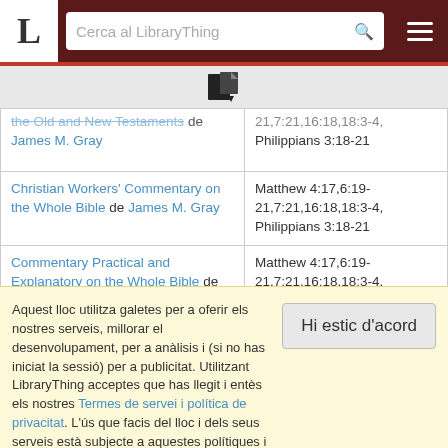LibraryThing - Cerca al LibraryThing
[Figure (screenshot): LibraryThing website header with logo L, search bar reading 'Cerca al LibraryThing', search icon, and hamburger menu on dark red background]
[Figure (other): Copy/export icon in grey bar]
| Book title / author | Bible references |
| --- | --- |
| the Old and New Testaments de James M. Gray | 21,7:21,16:18,18:3-4, Philippians 3:18-21 |
| Christian Workers' Commentary on the Whole Bible de James M. Gray | Matthew 4:17,6:19-21,7:21,16:18,18:3-4, Philippians 3:18-21 |
| Commentary Practical and Explanatory on the Whole Bible de Robert Jamieson | Matthew 4:17,6:19-21,7:21,16:18,18:3-4, Philippians 3:18-21 |
| A Commentary Critical... |  |
Aquest lloc utilitza galetes per a oferir els nostres serveis, millorar el desenvolupament, per a anàlisis i (si no has iniciat la sessió) per a publicitat. Utilitzant LibraryThing acceptes que has llegit i entès els nostres Termes de servei i política de privacitat. L'ús que facis del lloc i dels seus serveis està subjecte a aquestes polítiques i termes.